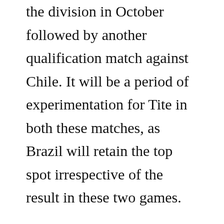the division in October followed by another qualification match against Chile. It will be a period of experimentation for Tite in both these matches, as Brazil will retain the top spot irrespective of the result in these two games.

Yet, it is unlikely that the national team boss will recall former stars like Robinho and Kaka for these games. There is a sense of the Brazilian national team moving towards the future with only the likes of Diego Tardelli